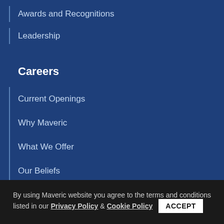Awards and Recognitions
Leadership
Careers
Current Openings
Why Maveric
What We Offer
Our Beliefs
Life at Maveric
Meet Our People
By using Maveric website you agree to the terms and conditions listed in our Privacy Policy & Cookie Policy  ACCEPT